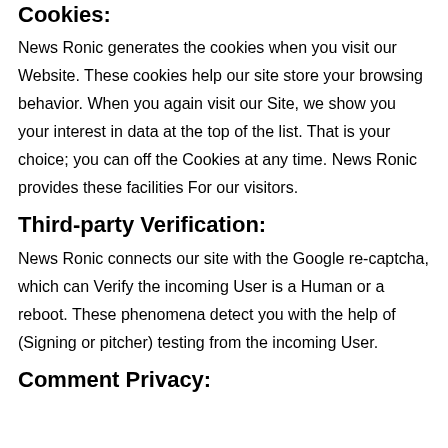Cookies:
News Ronic generates the cookies when you visit our Website. These cookies help our site store your browsing behavior. When you again visit our Site, we show you your interest in data at the top of the list. That is your choice; you can off the Cookies at any time. News Ronic provides these facilities For our visitors.
Third-party Verification:
News Ronic connects our site with the Google re-captcha, which can Verify the incoming User is a Human or a reboot. These phenomena detect you with the help of (Signing or pitcher) testing from the incoming User.
Comment Privacy: